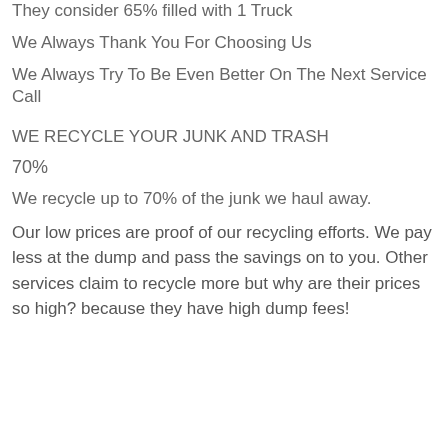They consider 65% filled with 1 Truck
We Always Thank You For Choosing Us
We Always Try To Be Even Better On The Next Service Call
WE RECYCLE YOUR JUNK AND TRASH
70%
We recycle up to 70% of the junk we haul away.
Our low prices are proof of our recycling efforts. We pay less at the dump and pass the savings on to you. Other services claim to recycle more but why are their prices so high? because they have high dump fees!